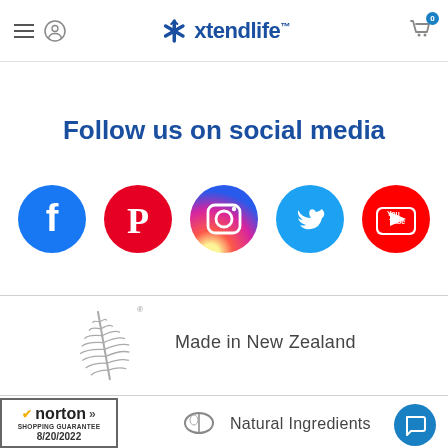[Figure (logo): Xtendlife logo with blue asterisk/snowflake icon and text 'xtendlife' in blue]
Follow us on social media
[Figure (infographic): Row of social media icons: Facebook (blue circle with F), Pinterest (red circle with P), Instagram (gradient circle with camera), Twitter (blue circle with bird), YouTube (red circle with play button)]
[Figure (illustration): New Zealand silver fern logo with registered trademark symbol]
Made in New Zealand
[Figure (logo): Norton Shopping Guarantee badge dated 8/20/2022]
[Figure (illustration): Capsule/pill icon representing natural ingredients]
Natural Ingredients